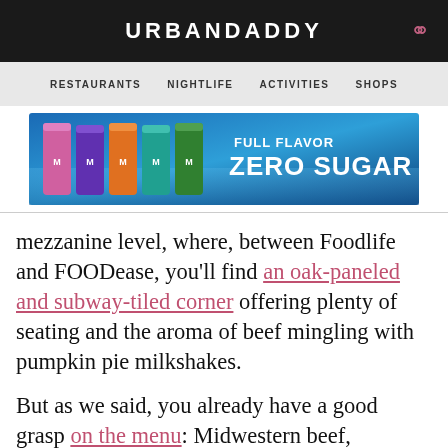URBANDADDY
RESTAURANTS  NIGHTLIFE  ACTIVITIES  SHOPS
[Figure (illustration): Monster Energy drink advertisement banner showing multiple colorful cans with text 'FULL FLAVOR ZERO SUGAR' on a blue icy background]
mezzanine level, where, between Foodlife and FOODease, you'll find an oak-paneled and subway-tiled corner offering plenty of seating and the aroma of beef mingling with pumpkin pie milkshakes.
But as we said, you already have a good grasp on the menu: Midwestern beef, Wisconsin cheddar, German gherkins (only the best gherkins for you). But now there's a whole